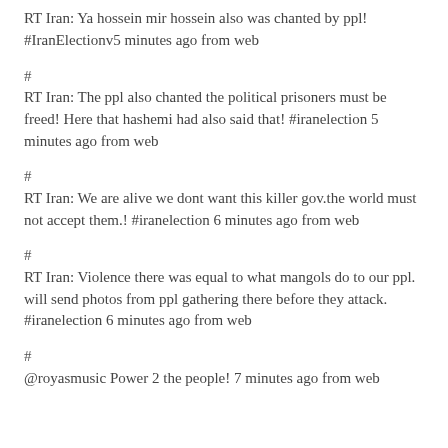RT Iran: Ya hossein mir hossein also was chanted by ppl! #IranElectionv5 minutes ago from web
#
RT Iran: The ppl also chanted the political prisoners must be freed! Here that hashemi had also said that! #iranelection 5 minutes ago from web
#
RT Iran: We are alive we dont want this killer gov.the world must not accept them.! #iranelection 6 minutes ago from web
#
RT Iran: Violence there was equal to what mangols do to our ppl. will send photos from ppl gathering there before they attack. #iranelection 6 minutes ago from web
#
@royasmusic Power 2 the people! 7 minutes ago from web